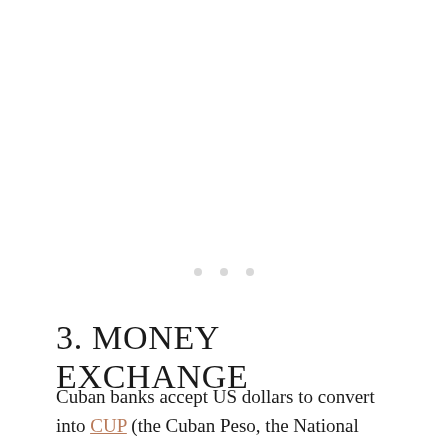[Figure (other): Three small light grey dots arranged horizontally, serving as a decorative divider or ellipsis element on the page.]
3. MONEY EXCHANGE
Cuban banks accept US dollars to convert into CUP (the Cuban Peso, the National Currency or in Spanish